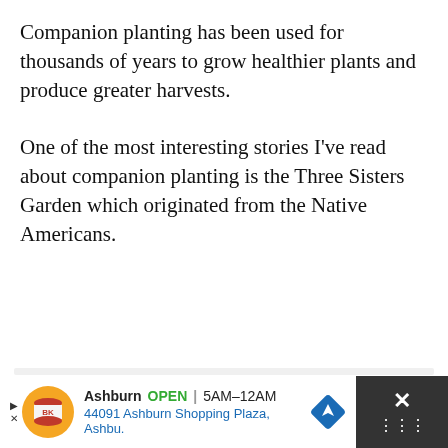Companion planting has been used for thousands of years to grow healthier plants and produce greater harvests.
One of the most interesting stories I've read about companion planting is the Three Sisters Garden which originated from the Native Americans.
[Figure (other): Light gray rectangular placeholder area for an image or advertisement]
[Figure (other): Advertisement banner at the bottom: Burger King Ashburn OPEN 5AM-12AM 44091 Ashburn Shopping Plaza, Ashbu. with navigation icon and close button]